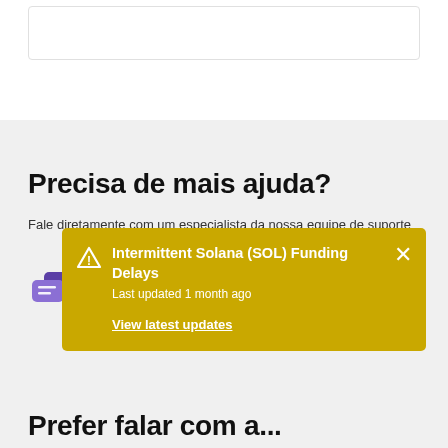[Figure (other): White box with border at the top of the page]
Precisa de mais ajuda?
Fale diretamente com um especialista da nossa equipe de suporte
[Figure (illustration): Purple chat bubble icon]
[Figure (infographic): Yellow/gold notification banner overlay with warning icon, title 'Intermittent Solana (SOL) Funding Delays', timestamp 'Last updated 1 month ago', and link 'View latest updates', with a close (X) button.]
Prefer falar com a...